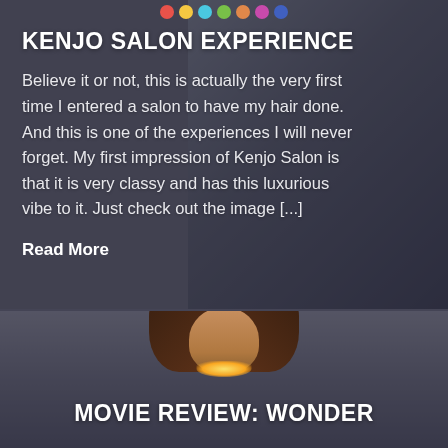[Figure (photo): Blog post card with dark overlay and man in salon background. Decorative colored circles at top.]
KENJO SALON EXPERIENCE
Believe it or not, this is actually the very first time I entered a salon to have my hair done. And this is one of the experiences I will never forget. My first impression of Kenjo Salon is that it is very classy and has this luxurious vibe to it. Just check out the image [...]
Read More
[Figure (photo): Blog post card with dark overlay and Wonder Woman character in background. Partial face visible at top.]
MOVIE REVIEW: WONDER